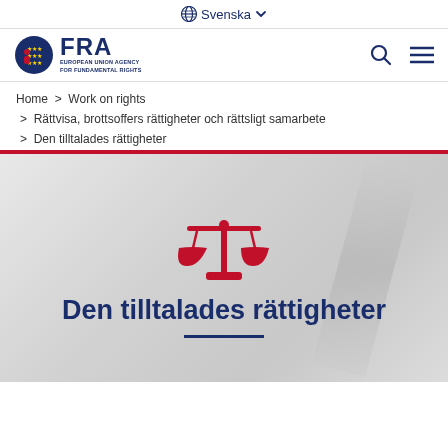Svenska
[Figure (logo): FRA European Union Agency for Fundamental Rights logo]
Home > Work on rights
> Rättvisa, brottsoffers rättigheter och rättsligt samarbete
> Den tilltalades rättigheter
[Figure (illustration): Red scales of justice icon on grey background with decorative diagonal shape]
Den tilltalades rättigheter